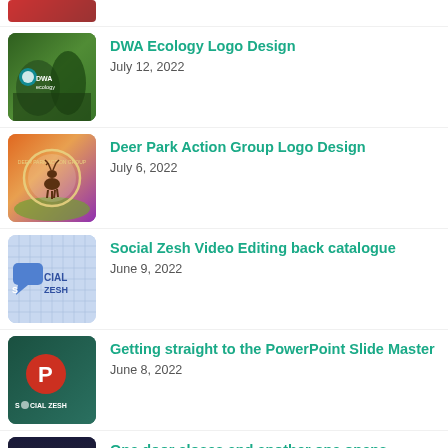[Figure (screenshot): Partial thumbnail at top, cropped]
DWA Ecology Logo Design
July 12, 2022
[Figure (photo): DWA Ecology logo thumbnail — green forest background with DWAecology logo]
Deer Park Action Group Logo Design
July 6, 2022
[Figure (photo): Deer Park Action Group logo thumbnail — sunset sky with circular badge logo]
Social Zesh Video Editing back catalogue
June 9, 2022
[Figure (screenshot): Social Zesh thumbnail — light blue grid background with chat icon and SOCIALZESH text]
Getting straight to the PowerPoint Slide Master
June 8, 2022
[Figure (screenshot): PowerPoint thumbnail — dark teal background with PowerPoint P icon and SOCIALZESH text]
One door closes and another one opens
May 25, 2022
[Figure (photo): Street scene thumbnail — dark storefront with Smart Living Norwich sign]